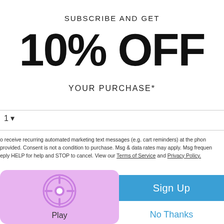SUBSCRIBE AND GET
10% OFF
YOUR PURCHASE*
1
o receive recurring automated marketing text messages (e.g. cart reminders) at the phon provided. Consent is not a condition to purchase. Msg & data rates may apply. Msg frequen eply HELP for help and STOP to cancel. View our Terms of Service and Privacy Policy.
[Figure (illustration): Purple/pink rounded square icon with a circular game controller or camera shutter icon, labeled Play]
Sign Up
No Thanks